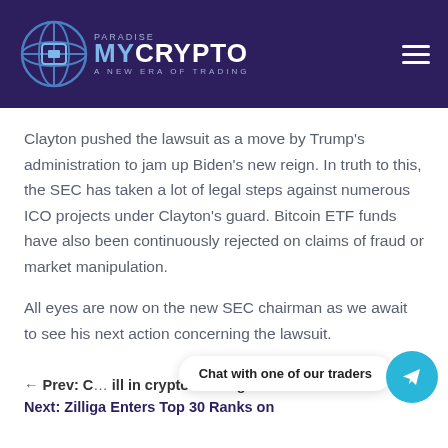[Figure (logo): MyCrypto Paradise logo with globe icon, tagline 'A New Era of Trading' on dark purple header background]
Clayton pushed the lawsuit as a move by Trump's administration to jam up Biden's new reign. In truth to this, the SEC has taken a lot of legal steps against numerous ICO projects under Clayton's guard. Bitcoin ETF funds have also been continuously rejected on claims of fraud or market manipulation.
All eyes are now on the new SEC chairman as we await to see his next action concerning the lawsuit.
← Prev: C…ill in crypto holding
Next: Zilliga Enters Top 30 Ranks on